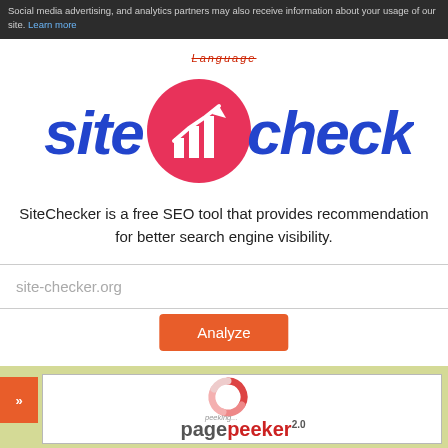Social media advertising, and analytics partners may also receive information about your usage of our site. Learn more
Language
[Figure (logo): SiteChecker logo — bold blue italic text 'sitechecker' with a pink circle containing a white bar chart and upward arrow]
SiteChecker is a free SEO tool that provides recommendation for better search engine visibility.
site-checker.org
Analyze
[Figure (screenshot): Preview panel with beige/green background showing a white bordered box. Inside: a pink/red donut-style spinning loader icon labeled 'peeking...' and the beginning of the PagePeeker 2.0 logo text.]